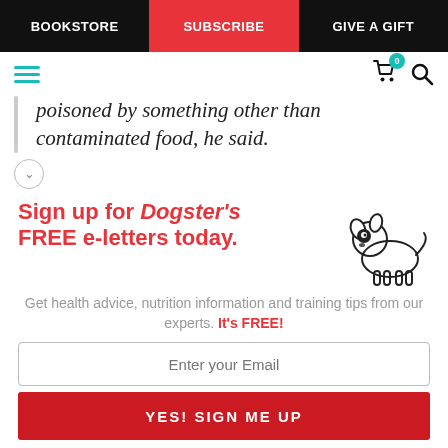BOOKSTORE | SUBSCRIBE | GIVE A GIFT
poisoned by something other than contaminated food, he said.
[Figure (illustration): Cartoon illustration of a small dog with a black spot over one eye, standing in profile]
Sign up for Dogster's FREE e-letters today. Get health advice, nutrition information and training tips from our experts. It's FREE!
Enter your Email
YES! SIGN ME UP